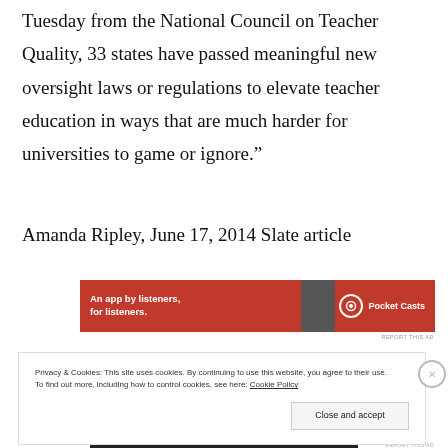Tuesday from the National Council on Teacher Quality, 33 states have passed meaningful new oversight laws or regulations to elevate teacher education in ways that are much harder for universities to game or ignore.”
Amanda Ripley, June 17, 2014 Slate article
[Figure (other): Pocket Casts advertisement banner with red background, phone image, and text 'An app by listeners, for listeners.' with Pocket Casts logo]
REPORT THIS AD
Privacy & Cookies: This site uses cookies. By continuing to use this website, you agree to their use. To find out more, including how to control cookies, see here: Cookie Policy